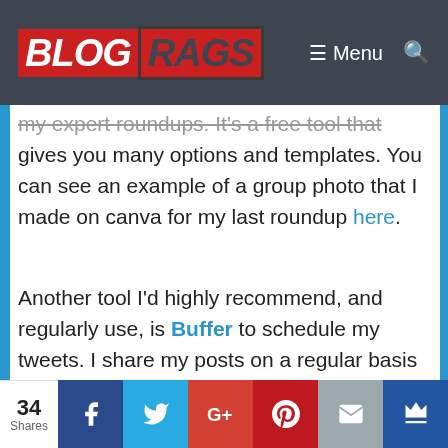BLOG RAGS — Menu
my expert roundups. It's a free tool that gives you many options and templates. You can see an example of a group photo that I made on canva for my last roundup here.
Another tool I'd highly recommend, and regularly use, is Buffer to schedule my tweets. I share my posts on a regular basis including those that I make for clients and also posts where I am featured as an expert, like this one.
34 Shares — Facebook, Twitter, G+, Pinterest, Email, Crown